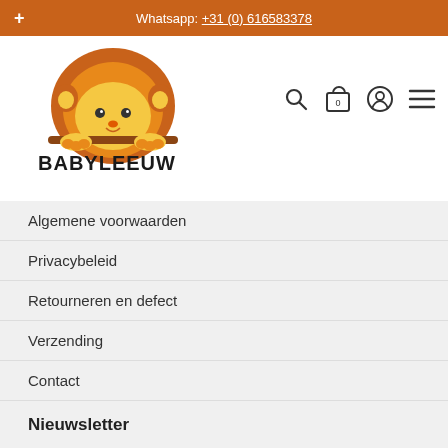Whatsapp: +31 (0) 616583378
[Figure (logo): Babyleeuw logo: cartoon baby lion peeking over a ledge above the text BABYLEEUW]
Algemene voorwaarden
Privacybeleid
Retourneren en defect
Verzending
Contact
Nieuwsletter
Promoties, nieuwe producten en uitverkoop rechtstreeks in je inbox.
Aanmelden